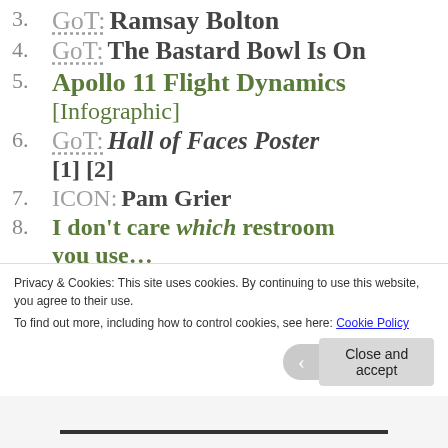3. GoT: Ramsay Bolton
4. GoT: The Bastard Bowl Is On
5. Apollo 11 Flight Dynamics [Infographic]
6. GoT: Hall of Faces Poster [1] [2]
7. ICON: Pam Grier
8. I don’t care which restroom you use…
9. GoT: Put Some Respect On…
Privacy & Cookies: This site uses cookies. By continuing to use this website, you agree to their use. To find out more, including how to control cookies, see here: Cookie Policy
Close and accept